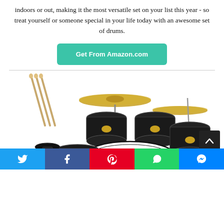indoors or out, making it the most versatile set on your list this year - so treat yourself or someone special in your life today with an awesome set of drums.
[Figure (other): Teal/green rounded rectangle button labeled 'Get From Amazon.com' in bold white text]
[Figure (photo): Product photo of an Eastar black junior drum kit with cymbals, toms, bass drum, stool, and drumsticks on a white background]
[Figure (other): Social share bar at bottom with Twitter (blue), Facebook (dark blue), Pinterest (red), WhatsApp (green), and Messenger (blue) icon buttons]